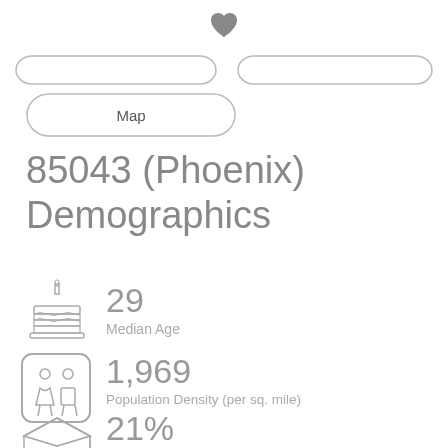[Figure (illustration): Heart icon at top center]
[Figure (illustration): Two partially visible pill/rounded navigation buttons]
[Figure (illustration): Map button with rounded pill border]
85043 (Phoenix) Demographics
[Figure (illustration): Birthday cake icon representing Median Age]
29
Median Age
[Figure (illustration): People/population icon representing Population Density]
1,969
Population Density (per sq. mile)
[Figure (illustration): Graduation cap icon representing education percentage]
21%